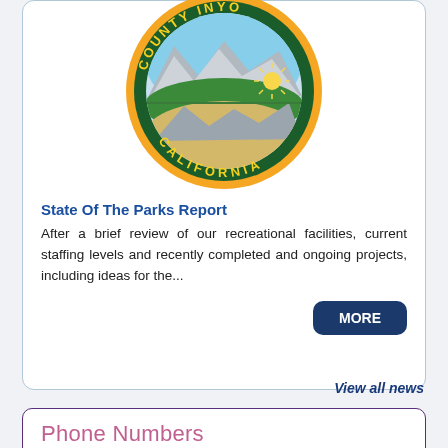[Figure (logo): Inyo County California seal — circular green and orange seal with mountains and landscape, text reading COUNTY INYO CALIFORNIA]
State Of The Parks Report
After a brief review of our recreational facilities, current staffing levels and recently completed and ongoing projects, including ideas for the...
MORE
View all news
Phone Numbers
Inyo County Parks and Recreation
760-873-5577